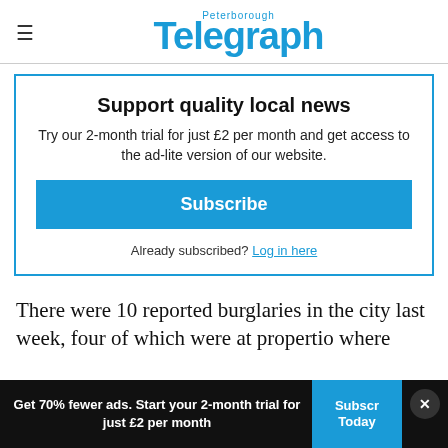Peterborough Telegraph
Support quality local news
Try our 2-month trial for just £2 per month and get access to the ad-lite version of our website.
Subscribe
Already subscribed? Log in here
There were 10 reported burglaries in the city last week, four of which were at properties where...
Get 70% fewer ads. Start your 2-month trial for just £2 per month
Subscribe Today